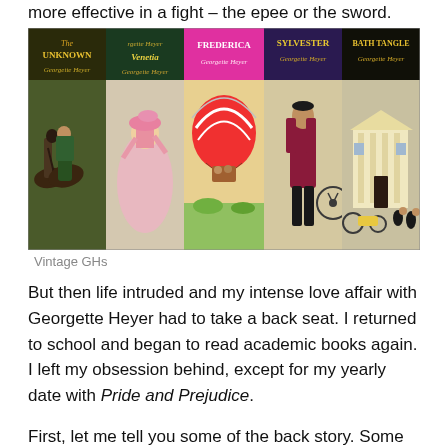more effective in a fight – the epee or the sword.
[Figure (photo): Five vintage Georgette Heyer book covers side by side showing Regency era illustrations: The Unknown, Venetia, Frederica, Sylvester, and Bath Tangle]
Vintage GHs
But then life intruded and my intense love affair with Georgette Heyer had to take a back seat. I returned to school and began to read academic books again. I left my obsession behind, except for my yearly date with Pride and Prejudice.
First, let me tell you some of the back story. Some school...